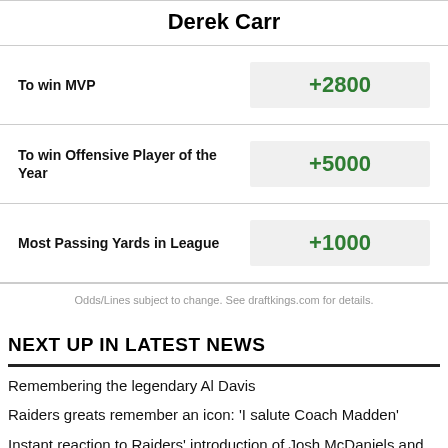Derek Carr
| Bet Type | Odds |
| --- | --- |
| To win MVP | +2800 |
| To win Offensive Player of the Year | +5000 |
| Most Passing Yards in League | +1000 |
Odds/Lines subject to change. See draftkings.com for details.
NEXT UP IN LATEST NEWS
Remembering the legendary Al Davis
Raiders greats remember an icon: 'I salute Coach Madden'
Instant reaction to Raiders' introduction of Josh McDaniels and Dave Ziegler